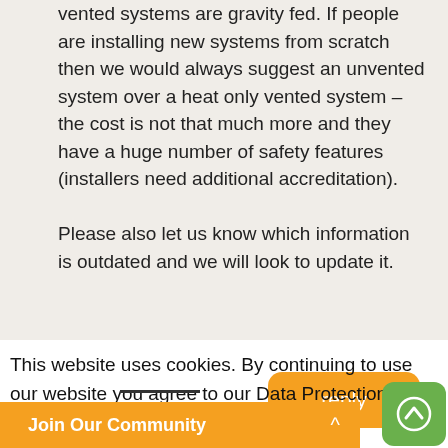vented systems are gravity fed. If people are installing new systems from scratch then we would always suggest an unvented system over a heat only vented system – the cost is not that much more and they have a huge number of safety features (installers need additional accreditation).

Please also let us know which information is outdated and we will look to update it.
reply
This website uses cookies. By continuing to use our website you agree to our Data Protection Policy, which you c...
Join Our Community